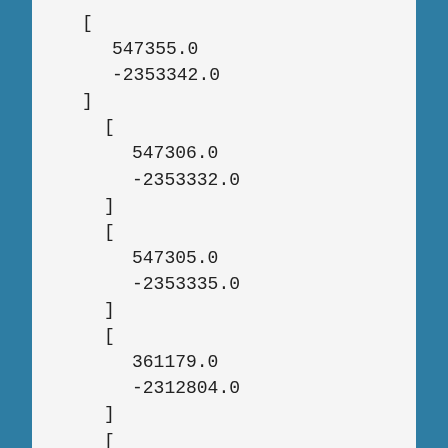[
  547355.0
  -2353342.0
]
  [
    547306.0
    -2353332.0
  ]
  [
    547305.0
    -2353335.0
  ]
  [
    361179.0
    -2312804.0
  ]
  [
    360348.0
    -2312589.0